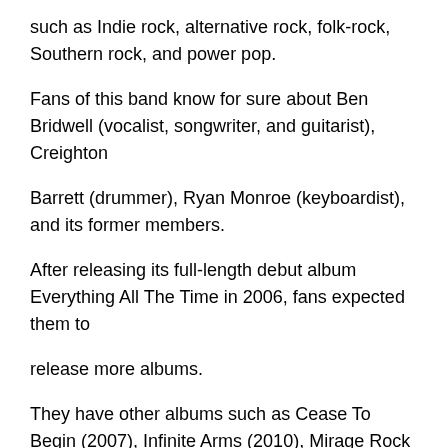such as Indie rock, alternative rock, folk-rock, Southern rock, and power pop.
Fans of this band know for sure about Ben Bridwell (vocalist, songwriter, and guitarist), Creighton
Barrett (drummer), Ryan Monroe (keyboardist), and its former members.
After releasing its full-length debut album Everything All The Time in 2006, fans expected them to
release more albums.
They have other albums such as Cease To Begin (2007), Infinite Arms (2010), Mirage Rock (2012), Why Are You OK (2016), and Things Are Great (2022).